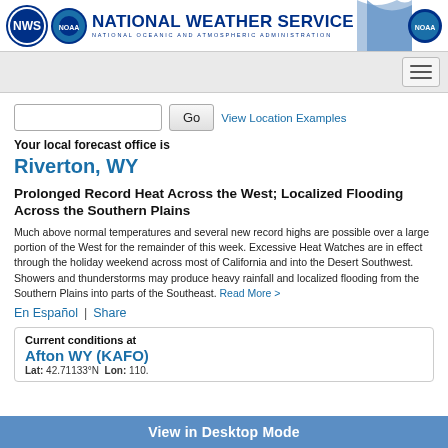NATIONAL WEATHER SERVICE | NATIONAL OCEANIC AND ATMOSPHERIC ADMINISTRATION
[Figure (logo): National Weather Service and NOAA logos with blue wave graphic]
Your local forecast office is
Riverton, WY
Prolonged Record Heat Across the West; Localized Flooding Across the Southern Plains
Much above normal temperatures and several new record highs are possible over a large portion of the West for the remainder of this week. Excessive Heat Watches are in effect through the holiday weekend across most of California and into the Desert Southwest. Showers and thunderstorms may produce heavy rainfall and localized flooding from the Southern Plains into parts of the Southeast. Read More >
En Español  |  Share
Current conditions at
Afton WY (KAFO)
Lat: 42.71133°N  Lon: 110.
View in Desktop Mode